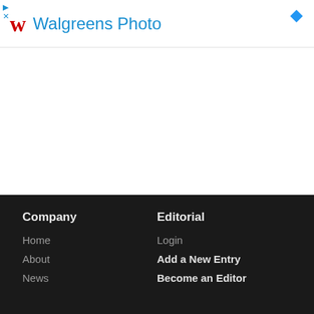[Figure (other): Walgreens Photo advertisement banner with red stylized 'w' logo, blue 'Walgreens Photo' text, blue diamond icon on right, and ad controls (play/close) on upper left]
[Figure (other): Collapse/minimize button with upward chevron arrow, white background with border]
Company
Home
About
News

Editorial
Login
Add a New Entry
Become an Editor